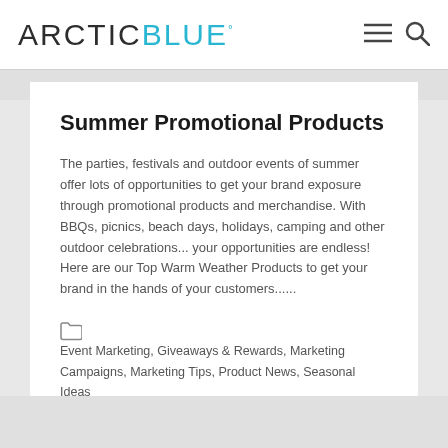ARCTIC BLUE
Summer Promotional Products
The parties, festivals and outdoor events of summer offer lots of opportunities to get your brand exposure through promotional products and merchandise. With BBQs, picnics, beach days, holidays, camping and other outdoor celebrations... your opportunities are endless! Here are our Top Warm Weather Products to get your brand in the hands of your customers......
Event Marketing, Giveaways & Rewards, Marketing Campaigns, Marketing Tips, Product News, Seasonal Ideas